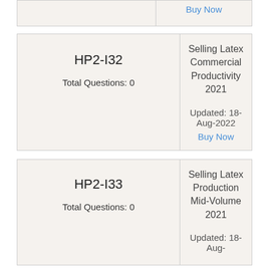| Exam | Details |
| --- | --- |
| HP2-I32
Total Questions: 0 | Selling Latex Commercial Productivity 2021
Updated: 18-Aug-2022
Buy Now |
| Exam | Details |
| --- | --- |
| HP2-I33
Total Questions: 0 | Selling Latex Production Mid-Volume 2021
Updated: 18-Aug- |